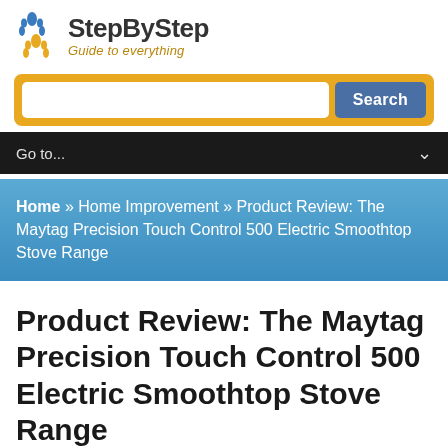[Figure (logo): StepByStep logo with two footprint icons (blue and orange) and text 'StepByStep' in dark bold with subtitle 'Guide to everything' in gold italic]
[Figure (other): Search bar with white input field and blue 'Search' button on an orange/gold rounded background]
Go to...
Home » Home Improvement » Product Review: The Maytag Precision Touch Control 500 Electric Smoothtop Stove Range
Product Review: The Maytag Precision Touch Control 500 Electric Smoothtop Stove Range